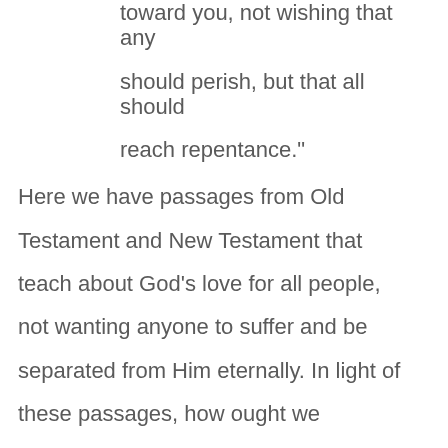toward you, not wishing that any should perish, but that all should reach repentance."

Here we have passages from Old Testament and New Testament that teach about God's love for all people, not wanting anyone to suffer and be separated from Him eternally. In light of these passages, how ought we interpret Proverbs 16:4?

In the last of all not the ...